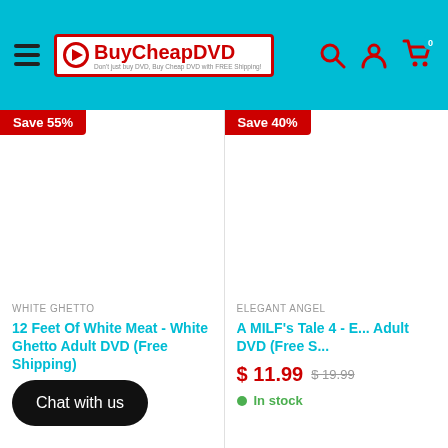BuyCheapDVD
Save 55%
Save 40%
WHITE GHETTO
12 Feet Of White Meat - White Ghetto Adult DVD (Free Shipping)
ELEGANT ANGEL
A MILF's Tale 4 - E... Adult DVD (Free S...
$ 11.99  $ 19.99
In stock
Chat with us